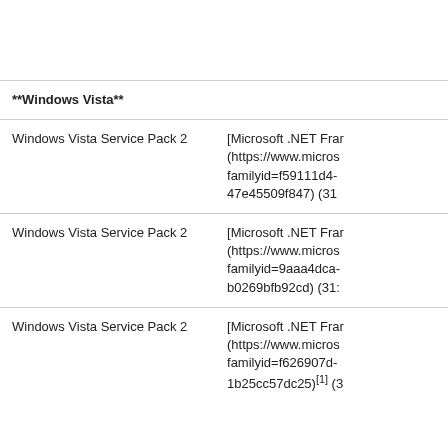| Operating System | Update Package |
| --- | --- |
|  |  |
| **Windows Vista** |  |
| Windows Vista Service Pack 2 | [Microsoft .NET Frar
(https://www.micros
familyid=f59111d4-
47e45509f847) (31 |
| Windows Vista Service Pack 2 | [Microsoft .NET Frar
(https://www.micros
familyid=9aaa4dca-
b0269bfb92cd) (31: |
| Windows Vista Service Pack 2 | [Microsoft .NET Frar
(https://www.micros
familyid=f626907d-
1b25cc57dc25)[1] (3 |